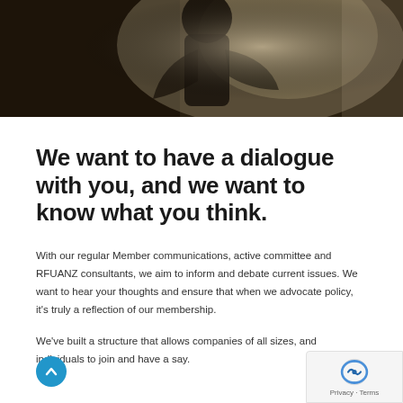[Figure (photo): Dark silhouette photo banner showing a person against a blurred background with warm tones]
We want to have a dialogue with you, and we want to know what you think.
With our regular Member communications, active committee and RFUANZ consultants, we aim to inform and debate current issues. We want to hear your thoughts and ensure that when we advocate policy, it's truly a reflection of our membership.
We've built a structure that allows companies of all sizes, and individuals to join and have a say.